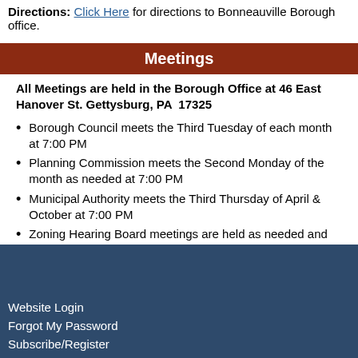Directions: Click Here for directions to Bonneauville Borough office.
Meetings
All Meetings are held in the Borough Office at 46 East Hanover St. Gettysburg, PA  17325
Borough Council meets the Third Tuesday of each month at 7:00 PM
Planning Commission meets the Second Monday of the month as needed at 7:00 PM
Municipal Authority meets the Third Thursday of April & October at 7:00 PM
Zoning Hearing Board meetings are held as needed and will be advertised before a scheduled meeting
Website Login
Forgot My Password
Subscribe/Register